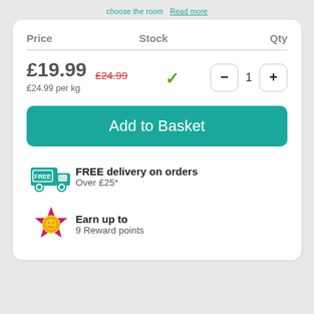| Price | Stock | Qty |
| --- | --- | --- |
| £19.99  £24.99
£24.99 per kg | ✓ | − 1 + |
Add to Basket
FREE delivery on orders
Over £25*
Earn up to
9 Reward points